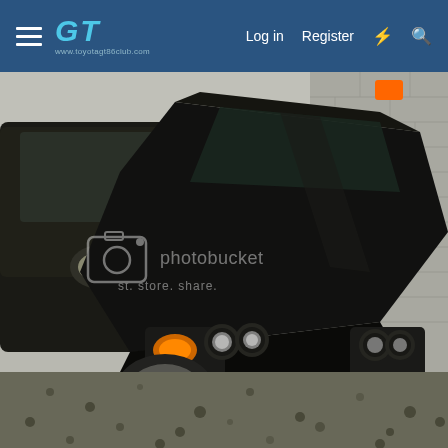GT www.toyotaGTforum.co.uk  Log in  Register
[Figure (photo): Photo of a black modified Japanese car (appears to be a Toyota Levin/Trueno or similar) parked on gravel next to a brick wall. The car has custom front bumper with MOTUL sticker, angel-eye headlights, and aftermarket wheels. A Photobucket watermark is overlaid on the image. Another black car is partially visible on the left.]